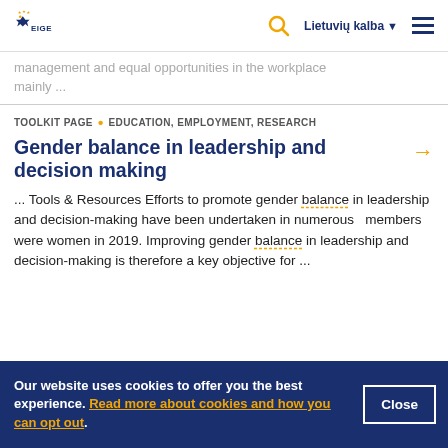EIGE — Lietuvių kalba
management and equal opportunities in the workplace mainly ...
TOOLKIT PAGE · EDUCATION, EMPLOYMENT, RESEARCH
Gender balance in leadership and decision making
... Tools & Resources Efforts to promote gender balance in leadership and decision-making have been undertaken in numerous ...  members were women in 2019. Improving gender balance in leadership and decision-making is therefore a key objective for ...
Our website uses cookies to offer you the best experience. Read more about cookies and how you can opt out.